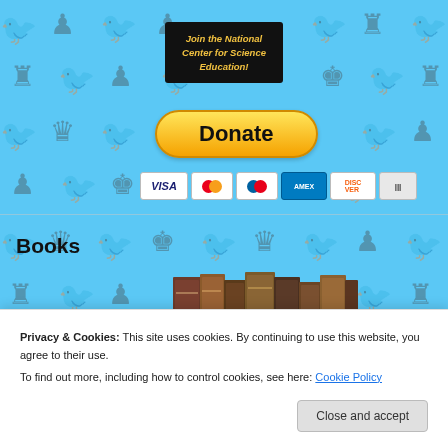[Figure (screenshot): Website screenshot showing a background pattern of chess pieces and pigeons on light blue background. Contains a 'Join the National Center for Science Education!' button, a yellow PayPal Donate button, payment card icons (VISA, Mastercard, American Express, Discover), a 'Books' section header with a books image, and a cookie consent banner at the bottom reading 'Privacy & Cookies: This site uses cookies. By continuing to use this website, you agree to their use. To find out more, including how to control cookies, see here: Cookie Policy' with a 'Close and accept' button.]